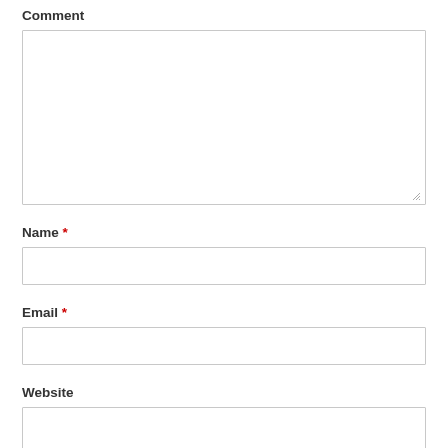Comment
[Figure (other): Large textarea form field for comment input with resize handle at bottom right]
Name *
[Figure (other): Single-line text input field for name]
Email *
[Figure (other): Single-line text input field for email]
Website
[Figure (other): Single-line text input field for website (partially visible)]